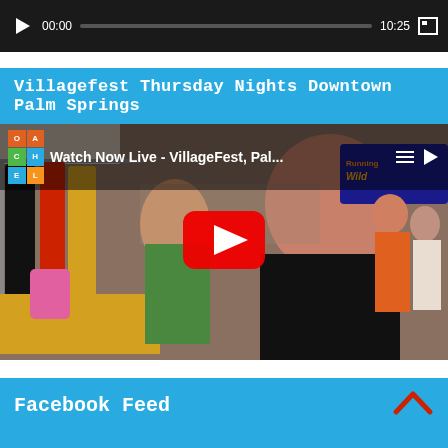[Figure (screenshot): Video player bar at top with play button, 00:00 timestamp, progress bar, 10:25 duration, and fullscreen button on dark background]
Villagefest Thursday Nights Downtown Palm Springs
[Figure (screenshot): YouTube video thumbnail showing VillageFest Palm Springs event with people at a market, Coachella logo in top-left, 'Watch Now Live - VillageFest, Pal...' overlay text, YouTube red play button in center, Running Wild sign in background]
Facebook Feed